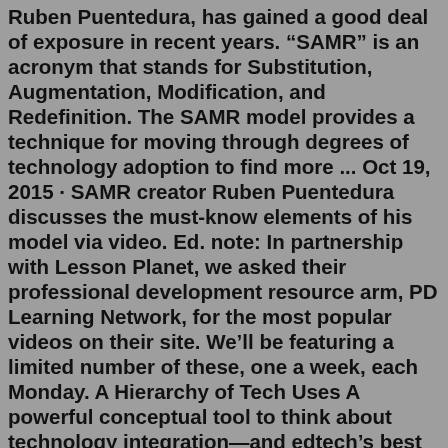Ruben Puentedura, has gained a good deal of exposure in recent years. "SAMR" is an acronym that stands for Substitution, Augmentation, Modification, and Redefinition. The SAMR model provides a technique for moving through degrees of technology adoption to find more ... Oct 19, 2015 · SAMR creator Ruben Puentedura discusses the must-know elements of his model via video. Ed. note: In partnership with Lesson Planet, we asked their professional development resource arm, PD Learning Network, for the most popular videos on their site. We'll be featuring a limited number of these, one a week, each Monday. A Hierarchy of Tech Uses A powerful conceptual tool to think about technology integration—and edtech's best uses—is the SAMR model, developed in 2010 by education researcher Ruben Puentedura, who was the 1991 recipient of a Phi Beta Kappa teaching award.The SAMR model was developed by Dr. Ruben Puentedura in 2010. The goal of the model was to help guide teachers when it came to integrating technology in effective ways. SAMR is